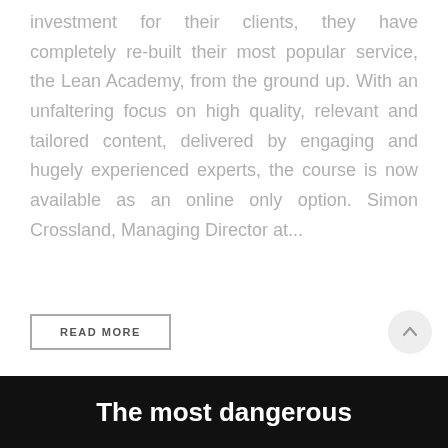investment for their clients, they have completely re-built their most popular service, the Lean Academy, from the ground up. With an unfaltering focus on high quality, relevant and tailored content, delivered by engaging and hugely experienced experts, the course is now available as an online only option. Simon Crossland, Managing Director at...
READ MORE
[Figure (other): Scroll-to-top button: a circular light gray button with an upward-pointing arrow icon]
The most dangerous